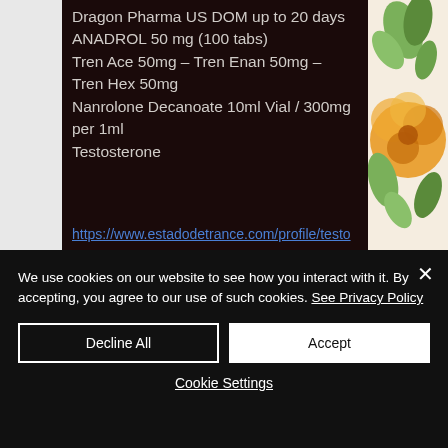Dragon Pharma US DOM up to 20 days
ANADROL 50 mg (100 tabs)
Tren Ace 50mg – Tren Enan 50mg – Tren Hex 50mg
Nanrolone Decanoate 10ml Vial / 300mg per 1ml
Testosterone
https://www.estadodetrance.com/profile/testo
We use cookies on our website to see how you interact with it. By accepting, you agree to our use of such cookies. See Privacy Policy
Decline All
Accept
Cookie Settings